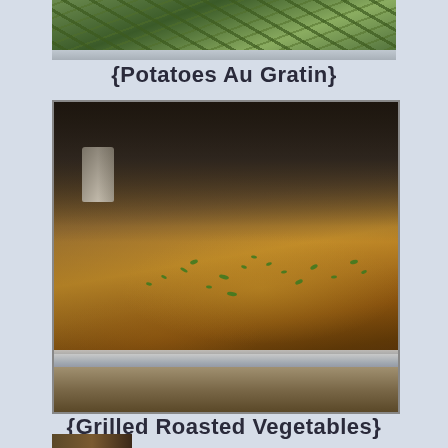[Figure (photo): Top portion of a photo showing green beans or similar vegetables in a silver catering tray, partially cropped at top of page]
{Potatoes Au Gratin}
[Figure (photo): Photo of Potatoes Au Gratin in a silver baking tray, topped with melted cheese browned on top and sprinkled with green herbs, with a blurred background showing wood furniture and a candle]
{Grilled Roasted Vegetables}